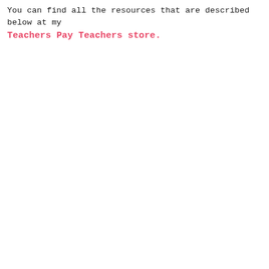You can find all the resources that are described below at my Teachers Pay Teachers store.